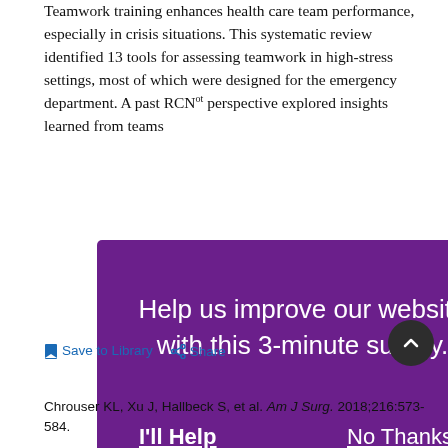Teamwork training enhances health care team performance, especially in crisis situations. This systematic review identified 13 tools for assessing teamwork in high-stress settings, most of which were designed for the emergency department. A past RCNot perspective explored insights learned from teams...
[Figure (screenshot): Purple modal popup overlay with text 'Help us improve our website with this 3-minute survey.' and two buttons: 'I'll Help' and 'No Thanks']
Save to Library  Share
Chrouser KL, Xu J, Hallbeck S, et al. Am J Surg. 2018;216:573-584.